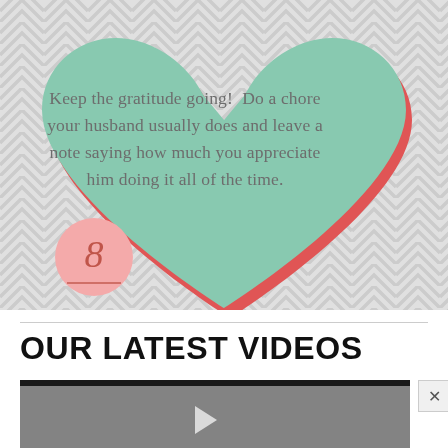[Figure (illustration): A mint green heart shape with red border/shadow on a grey chevron zigzag pattern background. Inside the heart is text about gratitude. A pink circular badge with the number 8 appears at the bottom-left of the heart.]
Keep the gratitude going!  Do a chore your husband usually does and leave a note saying how much you appreciate him doing it all of the time.
OUR LATEST VIDEOS
[Figure (screenshot): A video player thumbnail showing a grey/dark video preview with a play button icon visible.]